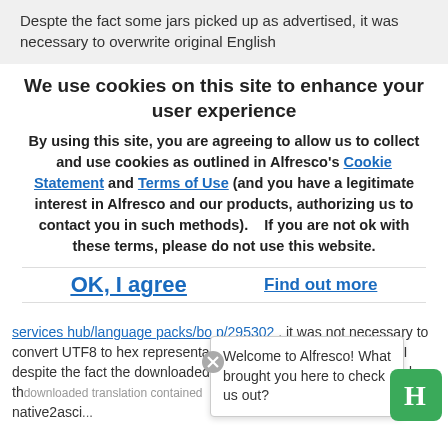Despte the fact some jars picked up as advertised, it was necessary to overwrite original English
We use cookies on this site to enhance your user experience
By using this site, you are agreeing to allow us to collect and use cookies as outlined in Alfresco's Cookie Statement and Terms of Use (and you have a legitimate interest in Alfresco and our products, authorizing us to contact you in such methods).   If you are not ok with these terms, please do not use this website.
OK, I agree
Find out more
services hub/language packs/bo p/295302 , it was not necessary to convert UTF8 to hex representation, that somehow broke the UI despite the fact the downloaded translation contained some, and the... the characters needed by native2ascii
Welcome to Alfresco! What brought you here to check us out?